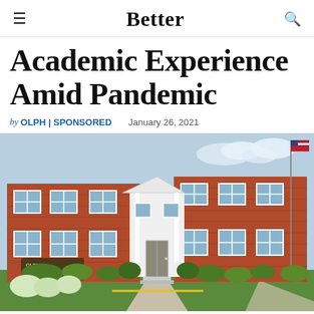Better
Academic Experience Amid Pandemic
by OLPH | SPONSORED   January 26, 2021
[Figure (photo): Exterior photo of a two-story brick school building with a white entrance portico, multiple windows, an American flag on a flagpole, green landscaping, and a school sign reading OLPH Our Lady of Perpetual Help School.]